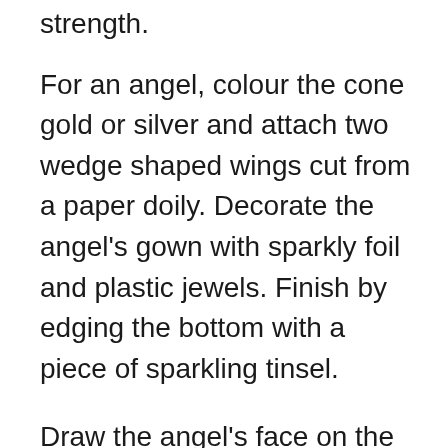strength.
For an angel, colour the cone gold or silver and attach two wedge shaped wings cut from a paper doily. Decorate the angel's gown with sparkly foil and plastic jewels. Finish by edging the bottom with a piece of sparkling tinsel.
Draw the angel's face on the ball and glue a mop of hair using the wool, onto her scalp. Finally add a tiny coronet of tinsel for her halo.
To make Mary, colour the cone blue and add a scrap of white fabric to her head. The same principle applies to Joseph and the shepherds. You can really go to town on the three kings, making elaborate gowns for them and tiny gold